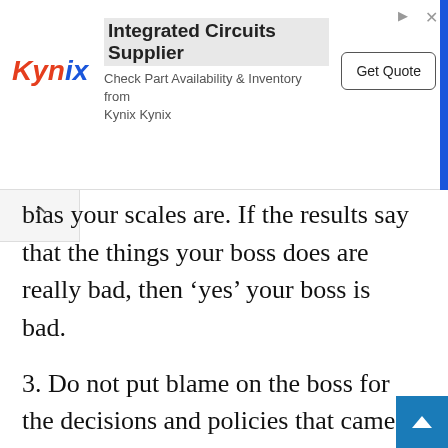[Figure (other): Kynix advertisement banner: logo 'Kynix' in red italic, headline 'Integrated Circuits Supplier', subtext 'Check Part Availability & Inventory from Kynix Kynix', and 'Get Quote' button on right. Blue vertical bar on far right edge.]
bias your scales are. If the results say that the things your boss does are really bad, then ‘yes’ your boss is bad.
3. Do not put blame on the boss for the decisions and policies that came from the higher authorities and out of reach of your boss.
4. Analyze the behavior of your boss and check how it is affecting you as well as analyze your activities that make your boss rude towards you